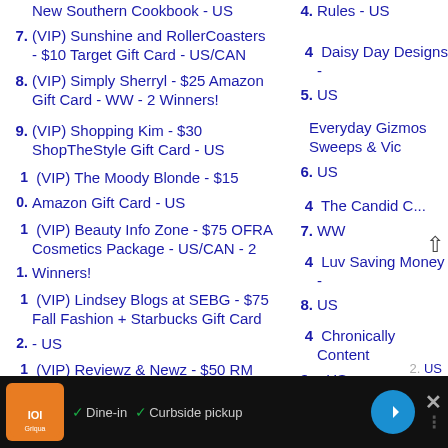New Southern Cookbook - US
7. (VIP) Sunshine and RollerCoasters - $10 Target Gift Card - US/CAN
8. (VIP) Simply Sherryl - $25 Amazon Gift Card - WW - 2 Winners!
9. (VIP) Shopping Kim - $30 ShopTheStyle Gift Card - US
10. (VIP) The Moody Blonde - $15 Amazon Gift Card - US
11. (VIP) Beauty Info Zone - $75 OFRA Cosmetics Package - US/CAN - 2 Winners!
12. (VIP) Lindsey Blogs at SEBG - $75 Fall Fashion + Starbucks Gift Card - US
1. (VIP) Reviewz & Newz - $50 RM
4. Rules - US
4. Daisy Day Designs - US
5. US
6. Everyday Gizmos Sweeps & Vic US
7. The Candid C... WW
8. Luv Saving Money - US
49. Chronically Content - US
50. Here We Go Again Ready - US
5. (truncated)
[Figure (screenshot): Advertisement bar at bottom showing restaurant with dine-in and curbside pickup options, orange logo, navigation icon, and close button]